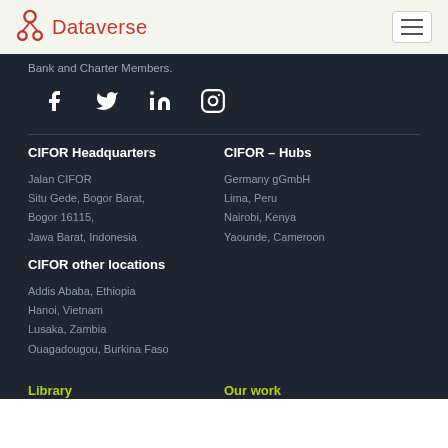Dataverse
Bank and Charter Members.
[Figure (illustration): Social media icons: Facebook, Twitter, LinkedIn, Instagram in white on dark background]
CIFOR Headquarters
Jalan CIFOR
Situ Gede, Bogor Barat,
Bogor 16115,
Jawa Barat, Indonesia
CIFOR - Hubs
Germany gGmbH
Lima, Peru
Nairobi, Kenya
Yaounde, Cameroon
CIFOR other locations
Addis Ababa, Ethiopia
Hanoi, Vietnam
Lusaka, Zambia
Ouagadougou, Burkina Faso
Library
Our work